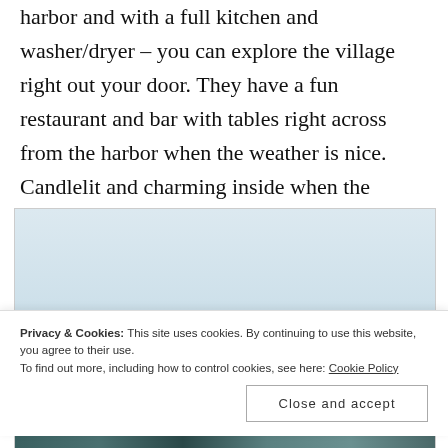harbor and with a full kitchen and washer/dryer – you can explore the village right out your door. They have a fun restaurant and bar with tables right across from the harbor when the weather is nice. Candlelit and charming inside when the awnings go down for the season.
[Figure (photo): Outdoor harbor/waterfront scene with light sky above and teal/dark colored structures at the bottom strip]
Privacy & Cookies: This site uses cookies. By continuing to use this website, you agree to their use.
To find out more, including how to control cookies, see here: Cookie Policy
Close and accept